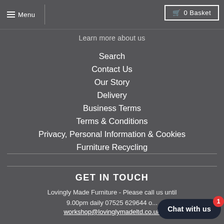Menu | 0 Basket
Learn more about us
Search
Contact Us
Our Story
Delivery
Business Terms
Terms & Conditions
Privacy, Personal Information & Cookies
Furniture Recycling
GET IN TOUCH
Lovingly Made Furniture - Please call us until 9.00pm daily 07525 629644 or...
workshop@lovinglymadeltd.co.uk